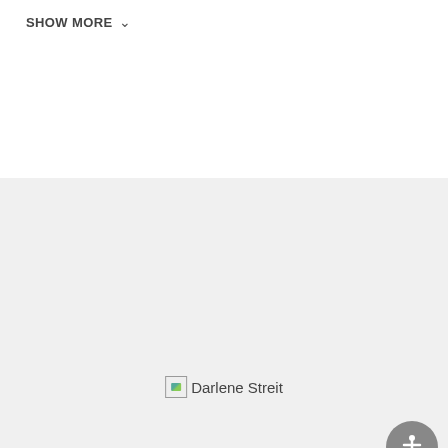SHOW MORE
[Figure (screenshot): Agent profile image placeholder for Darlene Streit with broken image icon]
DARLENE STREIT
Phone
505-000-0001